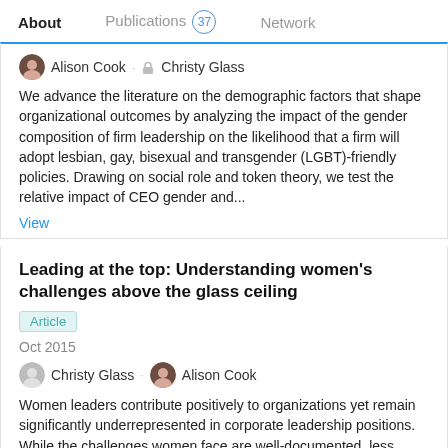About   Publications 37   Network
Alison Cook · Christy Glass
We advance the literature on the demographic factors that shape organizational outcomes by analyzing the impact of the gender composition of firm leadership on the likelihood that a firm will adopt lesbian, gay, bisexual and transgender (LGBT)-friendly policies. Drawing on social role and token theory, we test the relative impact of CEO gender and...
View
Leading at the top: Understanding women's challenges above the glass ceiling
Article
Oct 2015
Christy Glass · Alison Cook
Women leaders contribute positively to organizations yet remain significantly underrepresented in corporate leadership positions. While the challenges women face are well-documented, less understood are the factors that shape the experience and...